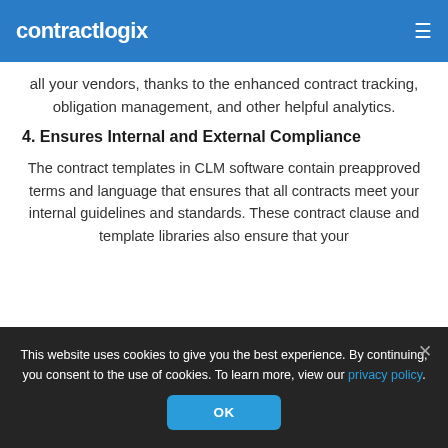contractlogix
all your vendors, thanks to the enhanced contract tracking, obligation management, and other helpful analytics.
4. Ensures Internal and External Compliance
The contract templates in CLM software contain preapproved terms and language that ensures that all contracts meet your internal guidelines and standards. These contract clause and template libraries also ensure that your
This website uses cookies to give you the best experience. By continuing, you consent to the use of cookies. To learn more, view our privacy policy.